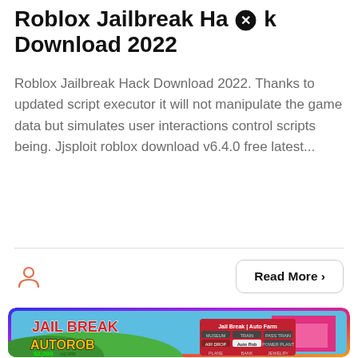Roblox Jailbreak Hack Download 2022
Roblox Jailbreak Hack Download 2022. Thanks to updated script executor it will not manipulate the game data but simulates user interactions control scripts being. Jjsploit roblox download v6.4.0 free latest...
Read More >
[Figure (screenshot): Screenshot of Roblox Jailbreak AutoRob game with in-game UI showing Jail Break Auto Farm menu with options: MUSEUM, TRAIN, PASS TRAIN, AIR DROP, Auto Rob, POWER PLANT, PLANE, BANK, JEWELRY. Shows $2,000/$2,000 in-game currency and game characters.]